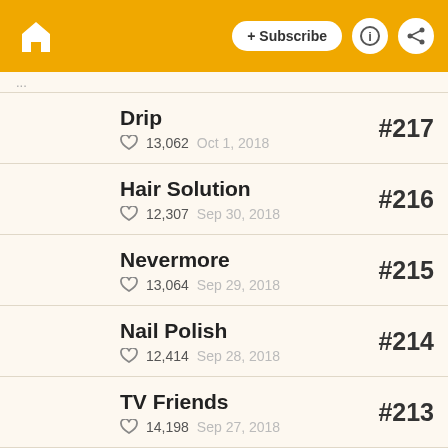+ Subscribe
Drip | ♡ 13,062  Oct 1, 2018 | #217
Hair Solution | ♡ 12,307  Sep 30, 2018 | #216
Nevermore | ♡ 13,064  Sep 29, 2018 | #215
Nail Polish | ♡ 12,414  Sep 28, 2018 | #214
TV Friends | ♡ 14,198  Sep 27, 2018 | #213
Erma Strip #37 | ♡ 14,080  Sep 26, 2018 | #212